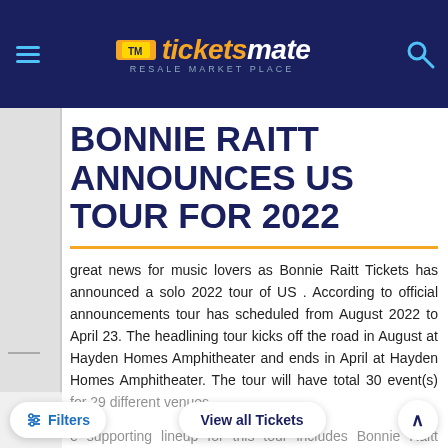ticketsmate RESALE MARKET PLACE
BONNIE RAITT ANNOUNCES US TOUR FOR 2022
great news for music lovers as Bonnie Raitt Tickets has announced a solo 2022 tour of US . According to official announcements tour has scheduled from August 2022 to April 23. The headlining tour kicks off the road in August at Hayden Homes Amphitheater and ends in April at Hayden Homes Amphitheater. The tour will have total 30 event(s) for 29 different venues.
e supporting lineup for this tour includes Bonnie Raitt Tickets the much-anticipated... available. If you wish to ...g b... k your de...